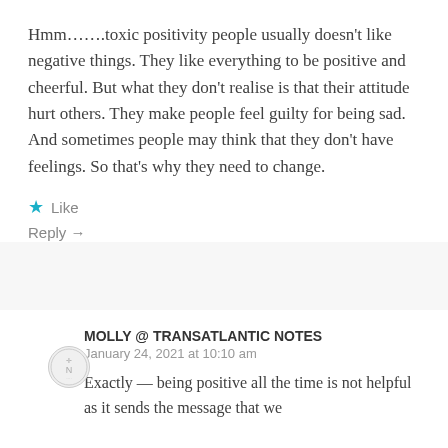Hmm…….toxic positivity people usually doesn't like negative things. They like everything to be positive and cheerful. But what they don't realise is that their attitude hurt others. They make people feel guilty for being sad. And sometimes people may think that they don't have feelings. So that's why they need to change.
★ Like
Reply →
MOLLY @ TRANSATLANTIC NOTES
January 24, 2021 at 10:10 am
Exactly — being positive all the time is not helpful as it sends the message that we